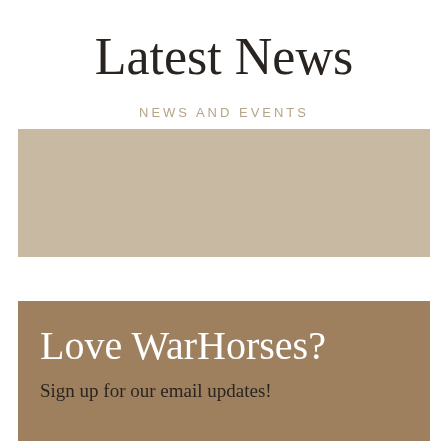Latest News
NEWS AND EVENTS
[Figure (photo): A rectangular tan/beige colored image placeholder block]
Love WarHorses?
Sign up for our email updates!